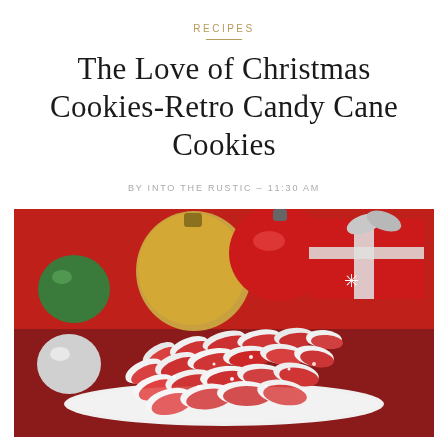RECIPES
The Love of Christmas Cookies-Retro Candy Cane Cookies
BY INTO THE RUSTIC – 11:30 AM
[Figure (photo): A plate piled high with red and white twisted candy cane cookies dusted with powdered sugar, surrounded by Christmas ornaments and a red gift box in the background.]